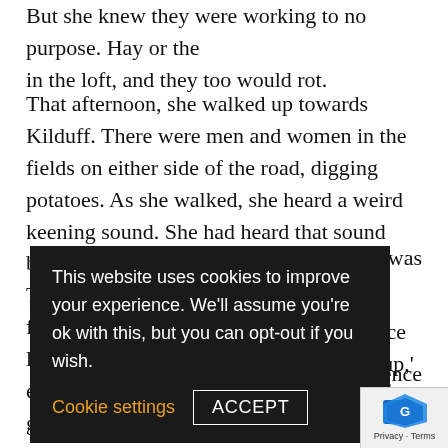But she knew they were working to no purpose. Hay or the in the loft, and they too would rot.
That afternoon, she walked up towards Kilduff. There were men and women in the fields on either side of the road, digging potatoes. As she walked, she heard a weird keening sound. She had heard that sound before at funerals, but this was different. These people were keening their own funerals. When she arrived in Kilduff the line at Dillon’s was shorter than she had expected. A few women stood outside, all gaunt …op. She was … …price is up,’ one s… …op. ‘Fourpence… …ned her m… s…
This website uses cookies to improve your experience. We'll assume you're ok with this, but you can opt-out if you wish. Cookie settings ACCEPT